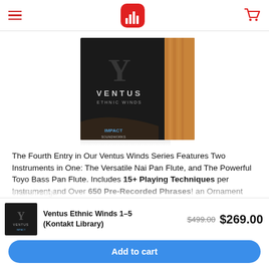Navigation header with hamburger menu, logo, and cart icon
[Figure (photo): Ventus Pan Flutes Kontakt library product box — dark box with 'VENTUS' branding, wooden pipe background, 'PAN FLUTES' text on spine, IMPACT soundworks logo]
The Fourth Entry in Our Ventus Winds Series Features Two Instruments in One: The Versatile Nai Pan Flute, and The Powerful Toyo Bass Pan Flute. Includes 15+ Playing Techniques per Instrument and Over 650 Pre-Recorded Phrases! an Ornament System Allows for Unique, Authentic Performances, and Tact (total Articulation Control Technology) provides the Ultimate Solution for Full... Walkthrough
[Figure (photo): Small thumbnail of Ventus Ethnic Winds library product]
Ventus Ethnic Winds 1–5 (Kontakt Library)
$499.00  $269.00
Add to cart